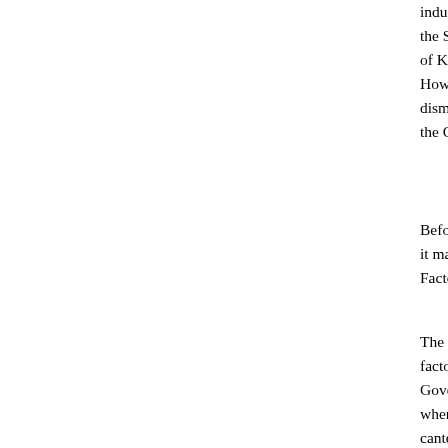industrial canteens and factories employing 2 the State of Karnataka. Writ petitions were file of Karnataka challenging the validity of the sa However, the High Court upheld the validity of dismissed the writ petitions. Hence these petit the Constitution.
Before we embark upon the contentions that a it may be necessary to briefly survey the pro Factories Act and the Act.
The Factories Act was enacted to regulate the factories. Section 46 of the Factories Act Government may make rules requiring that wherein more than 250 workers are ordinarily canteens shall be provided and maintained by of the workers. Section 2(n) defines the expres person who has ultimate control over the a further enumerates the persons who could be c case of a firm, a company or a Government. expression worker to mean a person who is en through any agency (including a contracto knowledge of the principal employer, whether in any manufacturing process, or in cleaning a or premises used for a manufacturing process work incidental to, or connected with, the manu subject of the manufacturing process but does of the armed forces. Rule 93 of the Karnataka framed under Section 46 of the Factories Act b provides that the occupier of every factory